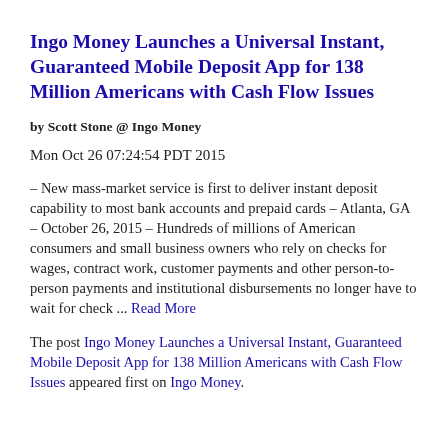Ingo Money Launches a Universal Instant, Guaranteed Mobile Deposit App for 138 Million Americans with Cash Flow Issues
by Scott Stone @ Ingo Money
Mon Oct 26 07:24:54 PDT 2015
– New mass-market service is first to deliver instant deposit capability to most bank accounts and prepaid cards – Atlanta, GA – October 26, 2015 – Hundreds of millions of American consumers and small business owners who rely on checks for wages, contract work, customer payments and other person-to-person payments and institutional disbursements no longer have to wait for check ... Read More
The post Ingo Money Launches a Universal Instant, Guaranteed Mobile Deposit App for 138 Million Americans with Cash Flow Issues appeared first on Ingo Money.